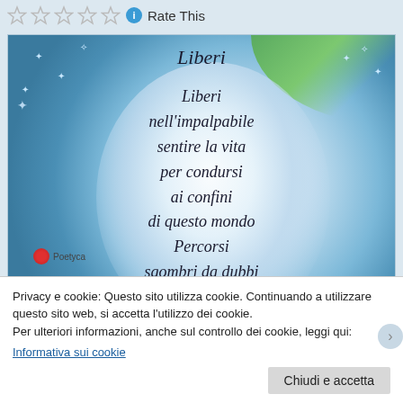[Figure (illustration): Rating stars (5 empty stars) with a blue info circle and 'Rate This' text]
[Figure (photo): Decorative image with blue-green background, white glowing globe shape, sparkles/stars, green corner accent, and centered italic poem text in black: 'Liberi' as title, then poem lines: Liberi / nell'impalpabile / sentire la vita / per condursi / ai confini / di questo mondo / Percorsi / sgombri da dubbi / dove il sole. Small logo 'Poetyca' with red circle in lower left.]
Privacy e cookie: Questo sito utilizza cookie. Continuando a utilizzare questo sito web, si accetta l'utilizzo dei cookie.
Per ulteriori informazioni, anche sul controllo dei cookie, leggi qui:
Informativa sui cookie
Chiudi e accetta